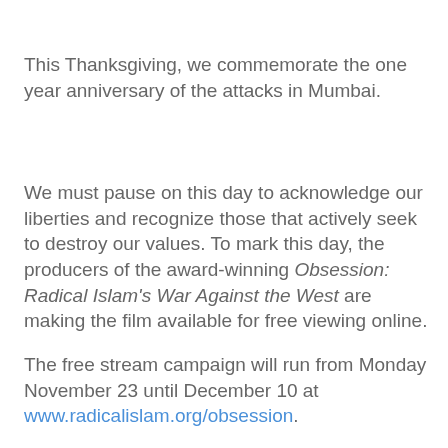This Thanksgiving, we commemorate the one year anniversary of the attacks in Mumbai.
We must pause on this day to acknowledge our liberties and recognize those that actively seek to destroy our values. To mark this day, the producers of the award-winning Obsession: Radical Islam's War Against the West are making the film available for free viewing online.
The free stream campaign will run from Monday November 23 until December 10 at www.radicalislam.org/obsession.